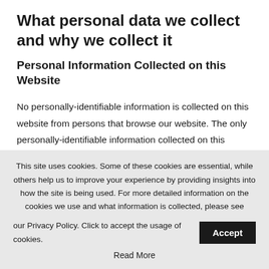What personal data we collect and why we collect it
Personal Information Collected on this Website
No personally-identifiable information is collected on this website from persons that browse our website. The only personally-identifiable information collected on this website is gathered in our comment area and on specified sign up forms, where fields are provided so
This site uses cookies. Some of these cookies are essential, while others help us to improve your experience by providing insights into how the site is being used. For more detailed information on the cookies we use and what information is collected, please see our Privacy Policy. Click to accept the usage of cookies.
Read More